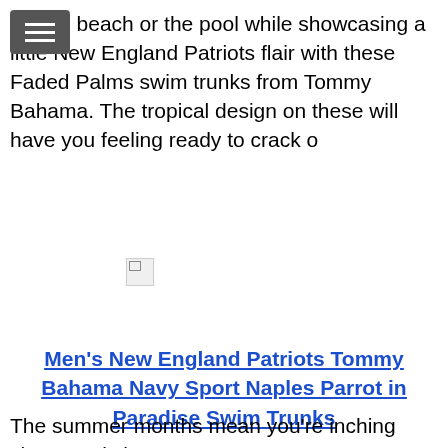Hit the beach or the pool while showcasing a little New England Patriots flair with these Faded Palms swim trunks from Tommy Bahama. The tropical design on these will have you feeling ready to crack o
[Figure (photo): Broken/missing image placeholder icon]
Men's New England Patriots Tommy Bahama Navy Sport Naples Parrot in Paradise Swim Trunks
The summer months mean you're inching closer and closer to